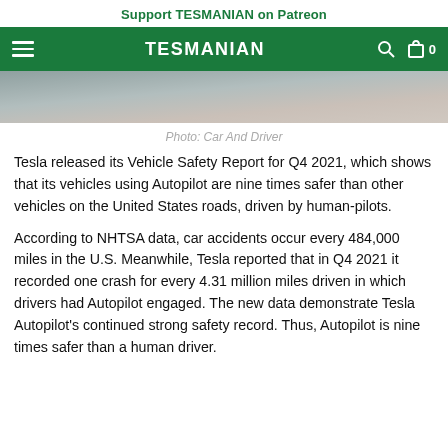Support TESMANIAN on Patreon
TESMANIAN
[Figure (photo): Partial view of a Tesla vehicle, grey/silver tones, cropped at top of page]
Photo: Car And Driver
Tesla released its Vehicle Safety Report for Q4 2021, which shows that its vehicles using Autopilot are nine times safer than other vehicles on the United States roads, driven by human-pilots.
According to NHTSA data, car accidents occur every 484,000 miles in the U.S. Meanwhile, Tesla reported that in Q4 2021 it recorded one crash for every 4.31 million miles driven in which drivers had Autopilot engaged. The new data demonstrate Tesla Autopilot's continued strong safety record. Thus, Autopilot is nine times safer than a human driver.